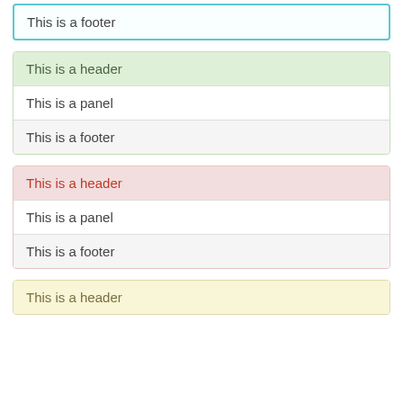This is a footer
This is a header
This is a panel
This is a footer
This is a header
This is a panel
This is a footer
This is a header